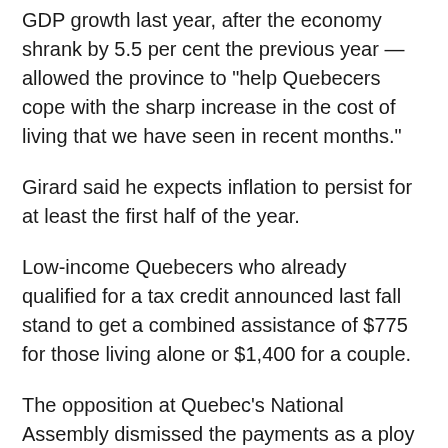GDP growth last year, after the economy shrank by 5.5 per cent the previous year — allowed the province to "help Quebecers cope with the sharp increase in the cost of living that we have seen in recent months."
Girard said he expects inflation to persist for at least the first half of the year.
Low-income Quebecers who already qualified for a tax credit announced last fall stand to get a combined assistance of $775 for those living alone or $1,400 for a couple.
The opposition at Quebec's National Assembly dismissed the payments as a ploy by Premier François Legault's CAQ government to get votes ahead of the fall election.